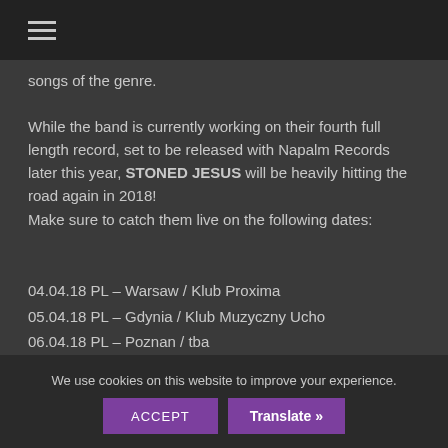≡ (hamburger menu icon)
songs of the genre.
While the band is currently working on their fourth full length record, set to be released with Napalm Records later this year, STONED JESUS will be heavily hitting the road again in 2018!
Make sure to catch them live on the following dates:
04.04.18 PL – Warsaw / Klub Proxima
05.04.18 PL – Gdynia / Klub Muzyczny Ucho
06.04.18 PL – Poznan / tba
07.04.18 PL – Wroclaw / Klub Firley
We use cookies on this website to improve your experience.
ACCEPT    Translate »